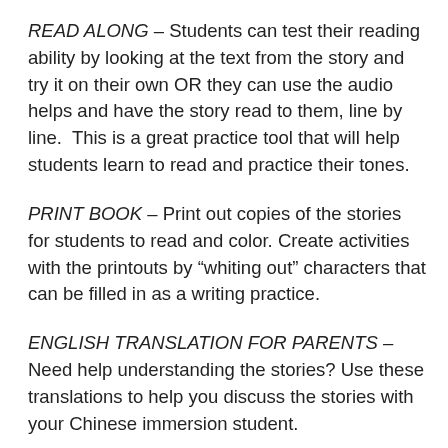READ ALONG – Students can test their reading ability by looking at the text from the story and try it on their own OR they can use the audio helps and have the story read to them, line by line.  This is a great practice tool that will help students learn to read and practice their tones.
PRINT BOOK – Print out copies of the stories for students to read and color. Create activities with the printouts by “whiting out” characters that can be filled in as a writing practice.
ENGLISH TRANSLATION FOR PARENTS – Need help understanding the stories? Use these translations to help you discuss the stories with your Chinese immersion student.
ONLINE ACTIVITIES – This is the most interactive and